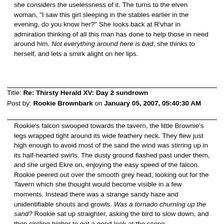she considers the uselessness of it.  The turns to the elven woman, "I saw this girl sleeping in the stables earlier in the evening, do you know her?"  She looks back at R'vhar in admiration thinking of all this man has done to help those in need around him.  Not everything around here is bad, she thinks to herself, and lets a smirk alight on her lips.
Title: Re: Thirsty Herald XV: Day 2 sundrown
Post by: Rookie Brownbark on January 05, 2007, 05:40:30 AM
Rookie's falcon swooped towards the tavern, the little Brownie's legs wrapped tight around its wide feathery neck.  They flew just high enough to avoid most of the sand the wind was stirring up in its half-hearted swirls.  The dusty ground flashed past under them, and she urged Ekre on, enjoying the easy speed of the falcon. Rookie peered out over the smooth grey head, looking out for the Tavern which she thought would become visible in a few moments.  Instead there was a strange sandy haze and unidentifiable shouts and growls.  Was a tornado churning up the sand?  Rookie sat up straighter, asking the bird to slow down, and then circling higher to get a good look at the scene.
Rookie had been wrong, there was the building and the commotion beside was not a natural phenomenon.  Two figures, dark against the sand, were lashing out at one another, their feet chucking up the sand. She should have known - there was not enough dust a real twister.  Suddenly lightning, seeming to come from nowhere, flashed to the